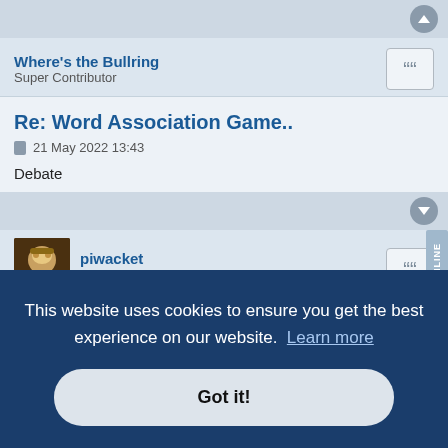Where's the Bullring
Super Contributor
Re: Word Association Game..
21 May 2022 13:43
Debate
piwacket
Moderator
ONLINE
Re: Word Association Game..
21 May 2022 20:38
This website uses cookies to ensure you get the best experience on our website.  Learn more
Got it!